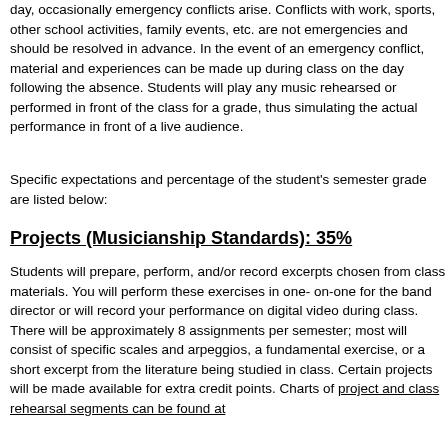day, occasionally emergency conflicts arise. Conflicts with work, sports, other school activities, family events, etc. are not emergencies and should be resolved in advance. In the event of an emergency conflict, material and experiences can be made up during class on the day following the absence. Students will play any music rehearsed or performed in front of the class for a grade, thus simulating the actual performance in front of a live audience.
Specific expectations and percentage of the student's semester grade are listed below:
Projects (Musicianship Standards): 35%
Students will prepare, perform, and/or record excerpts chosen from class materials. You will perform these exercises in one-on-one for the band director or will record your performance on digital video during class. There will be approximately 8 assignments per semester; most will consist of specific scales and arpeggios, a fundamental exercise, or a short excerpt from the literature being studied in class. Certain projects will be made available for extra credit points. Charts of project and class rehearsal segments can be found at